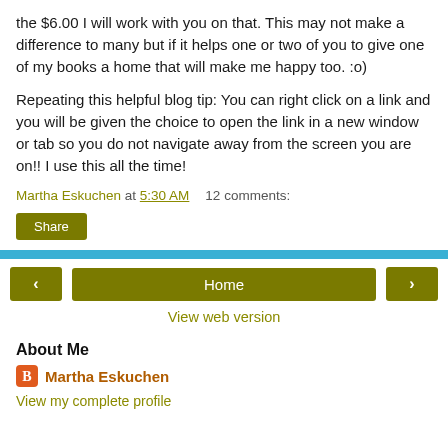the $6.00 I will work with you on that. This may not make a difference to many but if it helps one or two of you to give one of my books a home that will make me happy too. :o)
Repeating this helpful blog tip: You can right click on a link and you will be given the choice to open the link in a new window or tab so you do not navigate away from the screen you are on!! I use this all the time!
Martha Eskuchen at 5:30 AM   12 comments:
Share
Home
View web version
About Me
Martha Eskuchen
View my complete profile